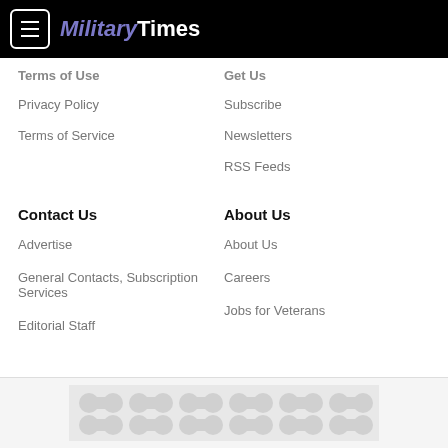MilitaryTimes
Terms of Use
Get Us
Privacy Policy
Subscribe
Terms of Service
Newsletters
RSS Feeds
Contact Us
About Us
Advertise
About Us
General Contacts, Subscription Services
Careers
Editorial Staff
Jobs for Veterans
[Figure (other): Advertisement banner with circular pattern background]